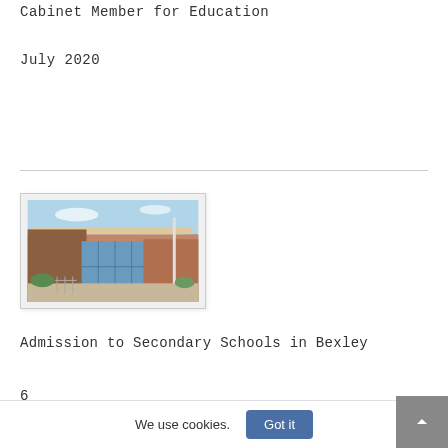Cabinet Member for Education
July 2020
[Figure (photo): Photograph of a secondary school building exterior, showing a modern brick building with glass entrance and a covered walkway/canopy, blue sky above.]
Admission to Secondary Schools in Bexley
6
We use cookies.
Got it